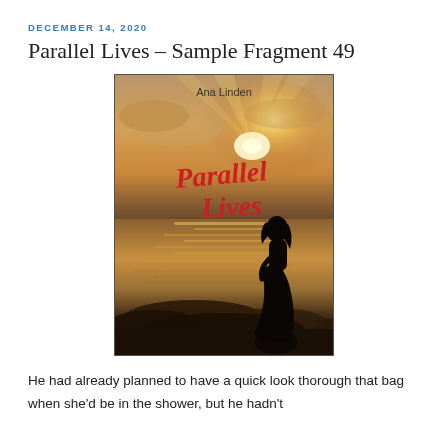DECEMBER 14, 2020
Parallel Lives – Sample Fragment 49
[Figure (illustration): Book cover of 'Parallel Lives' by Ana Linden. A silhouette of a woman stands on a rocky beach at sunset with golden light reflecting off the ocean. The title 'Parallel Lives' is written in red cursive script, and the author name 'Ana Linden' appears at the top in small text.]
He had already planned to have a quick look thorough that bag when she'd be in the shower, but he hadn't